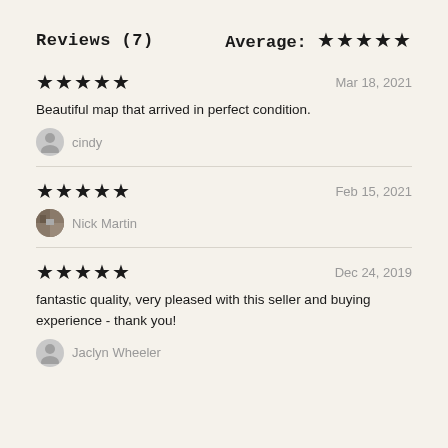Reviews (7)
Average: ★★★★★
★★★★★   Mar 18, 2021
Beautiful map that arrived in perfect condition.
cindy
★★★★★   Feb 15, 2021
Nick Martin
★★★★★   Dec 24, 2019
fantastic quality, very pleased with this seller and buying experience - thank you!
Jaclyn Wheeler